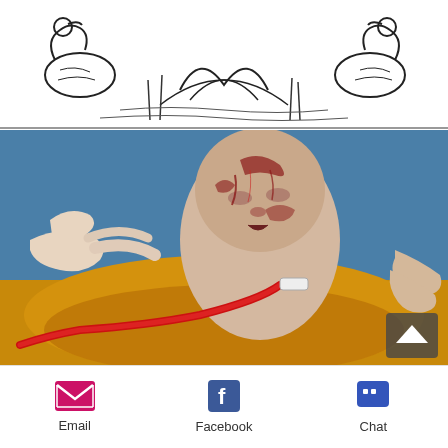[Figure (illustration): Black and white line illustration showing decorative animals (swans/geese) in a nature scene, appearing to be a header graphic]
[Figure (photo): Medical photograph of a newborn baby immediately after birth (C-section or delivery), covered in blood and vernix, with umbilical cord visible and medical personnel's hands visible holding the infant. The bottom portion shows yellowish placental tissue.]
[Figure (screenshot): Mobile app bottom sharing bar with Email, Facebook, and Chat options with icons]